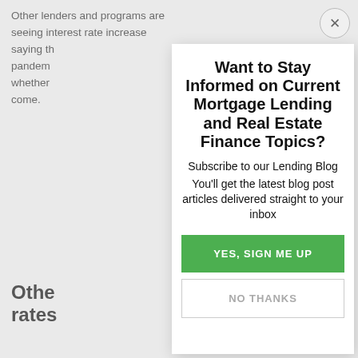Other lenders and programs are seeing interest rate increases of some points from some. Most financial analysts saying the pandemic whether come.
Other rates
The Inte can defe must be employe need to however
Property filing rule April 15
Want to Stay Informed on Current Mortgage Lending and Real Estate Finance Topics?
Subscribe to our Lending Blog
You'll get the latest blog post articles delivered straight to your inbox
YES, SIGN ME UP
NO THANKS